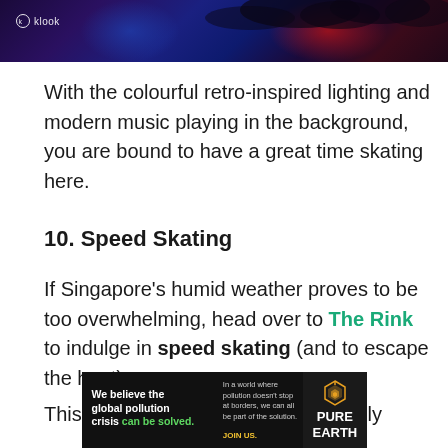[Figure (photo): Dark colourful photo with retro-inspired lighting showing purple, blue and red tones, with Klook logo watermark in bottom-left corner]
With the colourful retro-inspired lighting and modern music playing in the background, you are bound to have a great time skating here.
10. Speed Skating
If Singapore's humid weather proves to be too overwhelming, head over to The Rink to indulge in speed skating (and to escape the heat).
This speed-focused activity is typically
[Figure (infographic): Advertisement banner for Pure Earth: 'We believe the global pollution crisis can be solved.' Left text: 'In a world where pollution doesn't stop at borders, we can all be part of the solution.' JOIN US. Pure Earth logo on right.]